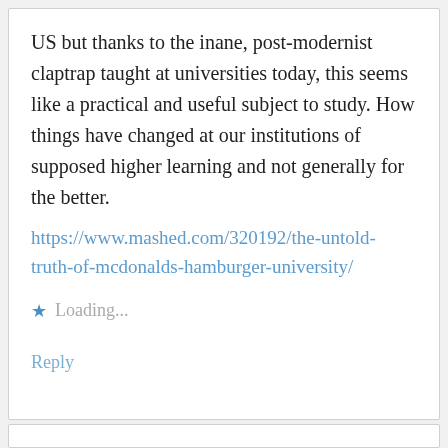US but thanks to the inane, post-modernist claptrap taught at universities today, this seems like a practical and useful subject to study. How things have changed at our institutions of supposed higher learning and not generally for the better.
https://www.mashed.com/320192/the-untold-truth-of-mcdonalds-hamburger-university/
Loading...
Reply